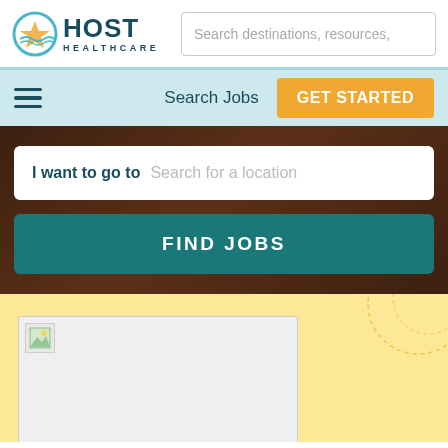[Figure (screenshot): Host Healthcare logo with decorative icon on left]
Search destinations, resources,
Search Jobs
GET STARTED
I want to go to   Search for a location
FIND JOBS
[Figure (screenshot): Yellow background section with a white document card containing a small image icon in top left corner]